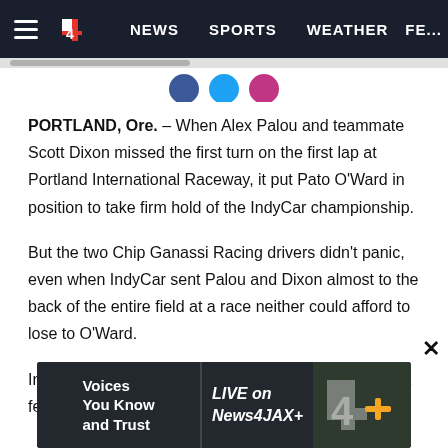NEWS  SPORTS  WEATHER  FE...
PORTLAND, Ore. – When Alex Palou and teammate Scott Dixon missed the first turn on the first lap at Portland International Raceway, it put Pato O'Ward in position to take firm hold of the IndyCar championship.
But the two Chip Ganassi Racing drivers didn't panic, even when IndyCar sent Palou and Dixon almost to the back of the entire field at a race neither could afford to lose to O'Ward.
Instead, they strategized on how to salvage Sunday, a feat
[Figure (screenshot): News4JAX advertisement banner: 'Voices You Know and Trust' with 'LIVE on News4JAX+' text and channel 4 logo with plus sign]